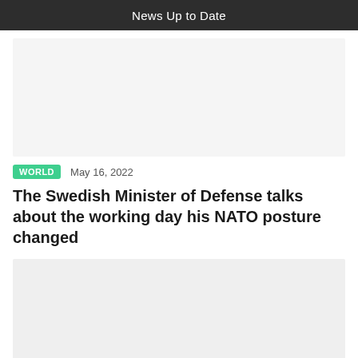News Up to Date
[Figure (photo): Article thumbnail image placeholder]
WORLD   May 16, 2022
The Swedish Minister of Defense talks about the working day his NATO posture changed
[Figure (photo): Article body image placeholder]